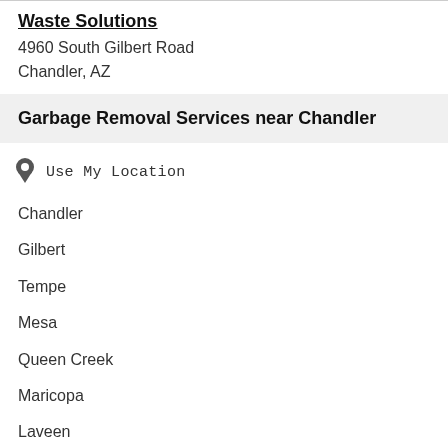Waste Solutions
4960 South Gilbert Road
Chandler, AZ
Garbage Removal Services near Chandler
Use My Location
Chandler
Gilbert
Tempe
Mesa
Queen Creek
Maricopa
Laveen
Apache Junction